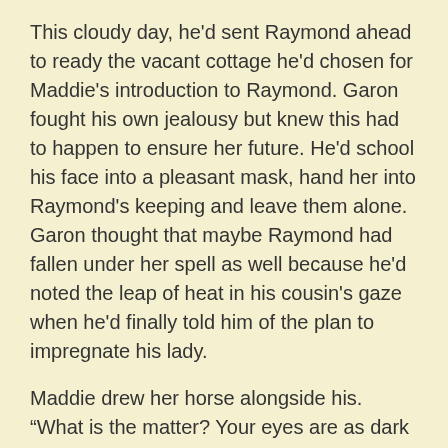This cloudy day, he'd sent Raymond ahead to ready the vacant cottage he'd chosen for Maddie's introduction to Raymond. Garon fought his own jealousy but knew this had to happen to ensure her future. He'd school his face into a pleasant mask, hand her into Raymond's keeping and leave them alone. Garon thought that maybe Raymond had fallen under her spell as well because he'd noted the leap of heat in his cousin's gaze when he'd finally told him of the plan to impregnate his lady.
Maddie drew her horse alongside his. “What is the matter? Your eyes are as dark as the thunderclouds above.”
“There’s nothing wrong.” He forced a smile. “And we’re almost there.”
She glanced around the clearing they entered, eying the